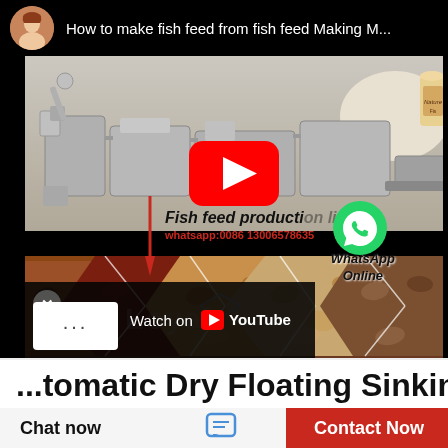[Figure (screenshot): YouTube video thumbnail showing fish feed production machinery and various fish feed pellets with text overlay: 'How to make fish feed from fish feed Making M...' and 'Fish feed production line', 'whatsapp:0086 13006578635', 'WhatsApp Online'. YouTube play button visible in center. 'Watch on YouTube' bar at bottom left with close button and dots menu.]
...tomatic Dry Floating Sinking
Chat now
Contact Now